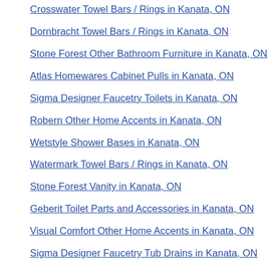Crosswater Towel Bars / Rings in Kanata, ON
Dornbracht Towel Bars / Rings in Kanata, ON
Stone Forest Other Bathroom Furniture in Kanata, ON
Atlas Homewares Cabinet Pulls in Kanata, ON
Sigma Designer Faucetry Toilets in Kanata, ON
Robern Other Home Accents in Kanata, ON
Wetstyle Shower Bases in Kanata, ON
Watermark Towel Bars / Rings in Kanata, ON
Stone Forest Vanity in Kanata, ON
Geberit Toilet Parts and Accessories in Kanata, ON
Visual Comfort Other Home Accents in Kanata, ON
Sigma Designer Faucetry Tub Drains in Kanata, ON
Robern Other Bathroom Parts and Accessories in Kanata, ON